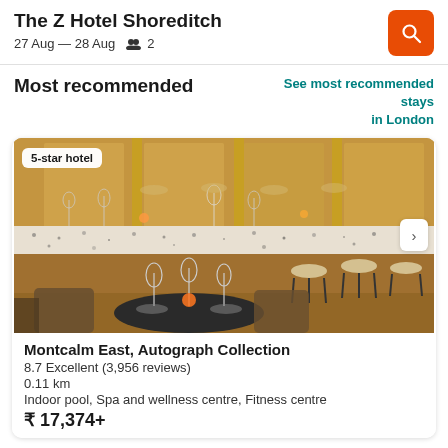The Z Hotel Shoreditch
27 Aug — 28 Aug  👥 2
Most recommended
See most recommended stays in London
[Figure (photo): Interior of Montcalm East hotel restaurant showing terrazzo bar counter, wine glasses, bar stools, candlelit dining table, and mirror-lined walls with warm golden lighting. Badge overlay: '5-star hotel']
Montcalm East, Autograph Collection
8.7 Excellent (3,956 reviews)
0.11 km
Indoor pool, Spa and wellness centre, Fitness centre
₹ 17,374+